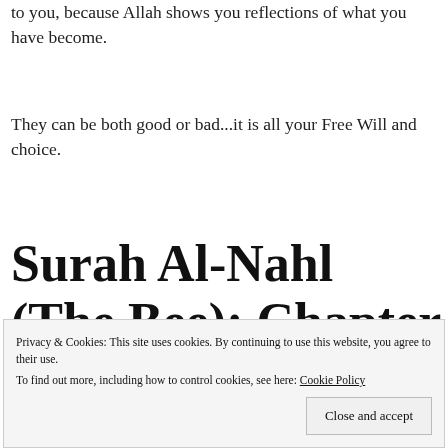to you, because Allah shows you reflections of what you have become.
They can be both good or bad...it is all your Free Will and choice.
Surah Al-Nahl (The Bee): Chapter 16 line
Privacy & Cookies: This site uses cookies. By continuing to use this website, you agree to their use. To find out more, including how to control cookies, see here: Cookie Policy